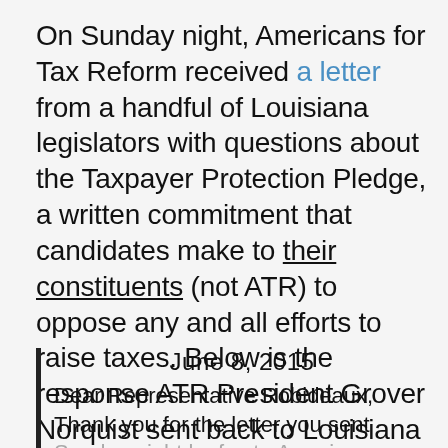On Sunday night, Americans for Tax Reform received a letter from a handful of Louisiana legislators with questions about the Taxpayer Protection Pledge, a written commitment that candidates make to their constituents (not ATR) to oppose any and all efforts to raise taxes. Below is the response ATR President Grover Norquist sent back to Louisiana legislators today:
June 8, 2015
Dear Representative Robideaux,
Thank you for the letter you sent Sunday night by fax to Americans…